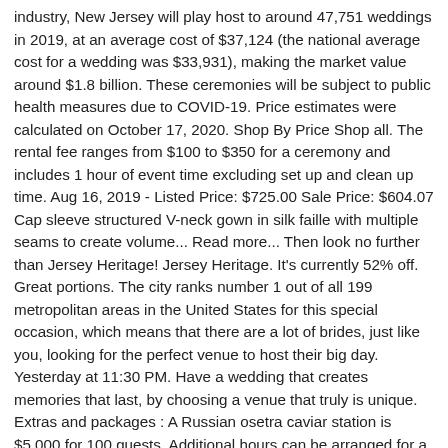industry, New Jersey will play host to around 47,751 weddings in 2019, at an average cost of $37,124 (the national average cost for a wedding was $33,931), making the market value around $1.8 billion. These ceremonies will be subject to public health measures due to COVID-19. Price estimates were calculated on October 17, 2020. Shop By Price Shop all. The rental fee ranges from $100 to $350 for a ceremony and includes 1 hour of event time excluding set up and clean up time. Aug 16, 2019 - Listed Price: $725.00 Sale Price: $604.07 Cap sleeve structured V-neck gown in silk faille with multiple seams to create volume... Read more... Then look no further than Jersey Heritage! Jersey Heritage. It's currently 52% off. Great portions. The city ranks number 1 out of all 199 metropolitan areas in the United States for this special occasion, which means that there are a lot of brides, just like you, looking for the perfect venue to host their big day. Yesterday at 11:30 PM. Have a wedding that creates memories that last, by choosing a venue that truly is unique. Extras and packages : A Russian osetra caviar station is $5,000 for 100 guests. Additional hours can be arranged for a fee of $100/hr. Now: $106.00. No matter what you want from your wedding venue, you can find the perfect setting for your special day on Hitched. New York Wedding Venues. 41 were here. Contact Heritage Park in Santa Fe Springs, with a dining starting at $1,424 for 50 guests. Traditional with th